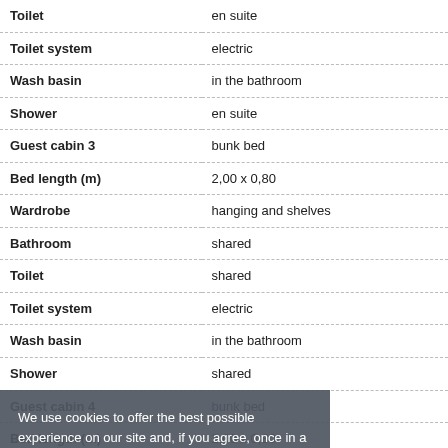| Feature | Value |
| --- | --- |
| Toilet | en suite |
| Toilet system | electric |
| Wash basin | in the bathroom |
| Shower | en suite |
| Guest cabin 3 | bunk bed |
| Bed length (m) | 2,00 x 0,80 |
| Wardrobe | hanging and shelves |
| Bathroom | shared |
| Toilet | shared |
| Toilet system | electric |
| Wash basin | in the bathroom |
| Shower | shared |
| Guest cabin 4 | bunk bed |
| Bed length (m) | 2,00 x 0,80 |
| Wardrobe | hanging and shelves |
| Bathroom | shared |
| Toilet | shared |
| Toilet system | electric |
| Wash basin | in the bathroom |
| Shower | shared |
| Extra info | additional day head |
We use cookies to offer the best possible experience on our site and, if you agree, once in a while will show you targeted advertisements. Don't worry, we only use the data for ourselves and don't give or sell it to anyone. If you are happy with that continue browsing or click on 'Allow cookies'. If you don't want this then simply click on 'I do not agree'. More information? Read our Cookie Statement.